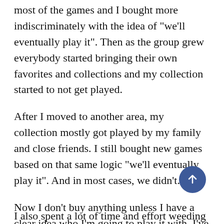most of the games and I bought more indiscriminately with the idea of "we'll eventually play it". Then as the group grew everybody started bringing their own favorites and collections and my collection started to not get played.
After I moved to another area, my collection mostly got played by my family and close friends. I still bought new games based on that same logic "we'll eventually play it". And in most cases, we didn't.
Now I don't buy anything unless I have a clear idea who I'm going to play it with. I've passed up on Kickstarters that I'd insta-back in the old days because I can't see who I'd play it with or when.
I also spent a lot of time and effort weeding